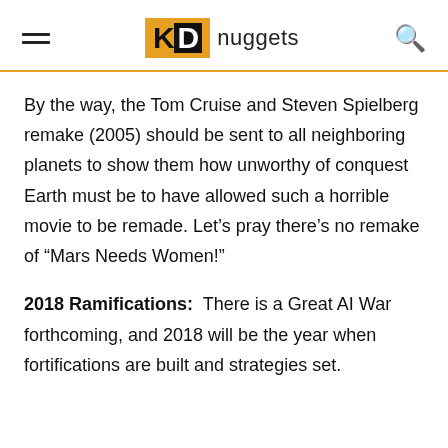KD nuggets
By the way, the Tom Cruise and Steven Spielberg remake (2005) should be sent to all neighboring planets to show them how unworthy of conquest Earth must be to have allowed such a horrible movie to be remade. Let’s pray there’s no remake of “Mars Needs Women!”
2018 Ramifications:  There is a Great AI War forthcoming, and 2018 will be the year when fortifications are built and strategies set.